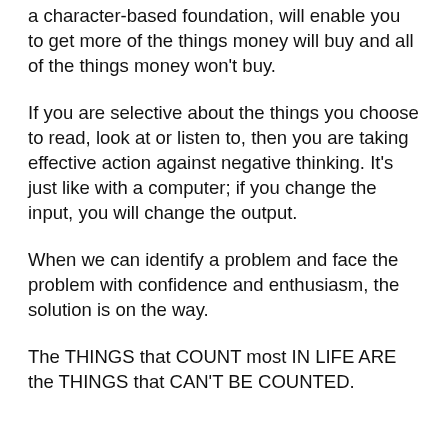a character-based foundation, will enable you to get more of the things money will buy and all of the things money won't buy.
If you are selective about the things you choose to read, look at or listen to, then you are taking effective action against negative thinking. It's just like with a computer; if you change the input, you will change the output.
When we can identify a problem and face the problem with confidence and enthusiasm, the solution is on the way.
The THINGS that COUNT most IN LIFE ARE the THINGS that CAN'T BE COUNTED.